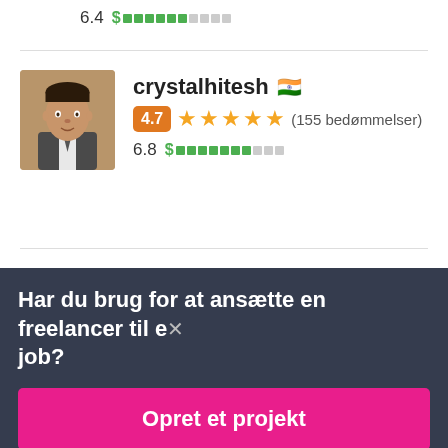6.4 $ [bar indicator]
[Figure (screenshot): Profile card for user 'crystalhitesh' with Indian flag emoji, rating badge 4.7 (orange), 5 orange stars, (155 bedømmelser), score 6.8 with green dollar bar indicator, and a profile photo of a man in a suit.]
Har du brug for at ansætte en freelancer til et job?
Opret et projekt